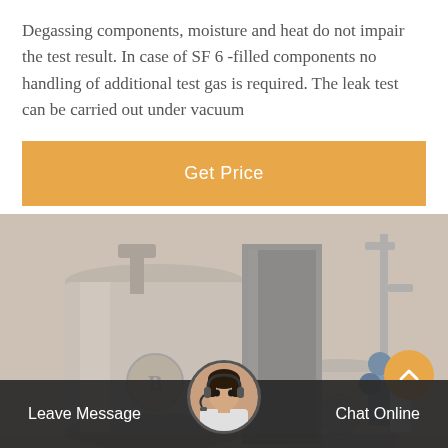Degassing components, moisture and heat do not impair the test result. In case of SF 6 -filled components no handling of additional test gas is required. The leak test can be carried out under vacuum
Get Price
[Figure (photo): Industrial machinery photo showing large cylindrical equipment, tanks, and workers wearing blue hard hats in an industrial facility]
Leave Message   Chat Online